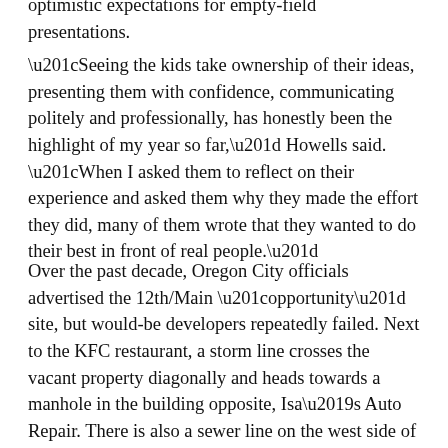optimistic expectations for empty-field presentations.
“Seeing the kids take ownership of their ideas, presenting them with confidence, communicating politely and professionally, has honestly been the highlight of my year so far,” Howells said. “When I asked them to reflect on their experience and asked them why they made the effort they did, many of them wrote that they wanted to do their best in front of real people.”
Over the past decade, Oregon City officials advertised the 12th/Main “opportunity” site, but would-be developers repeatedly failed. Next to the KFC restaurant, a storm line crosses the vacant property diagonally and heads towards a manhole in the building opposite, Isa’s Auto Repair. There is also a sewer line on the west side of empty city-owned land that could make traffic access from McLoughlin Boulevard difficult for any potential new buildings.